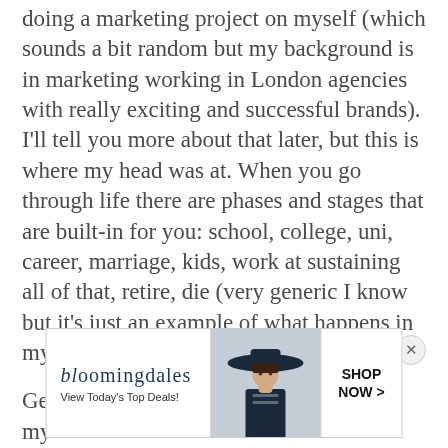doing a marketing project on myself (which sounds a bit random but my background is in marketing working in London agencies with really exciting and successful brands). I'll tell you more about that later, but this is where my head was at. When you go through life there are phases and stages that are built-in for you: school, college, uni, career, marriage, kids, work at sustaining all of that, retire, die (very generic I know but it's just an example of what happens in my world).
Getting divorced at 40 with two kids and my
[Figure (other): Bloomingdale's advertisement banner with logo, tagline 'View Today's Top Deals!', an image of a woman in a hat, and a 'SHOP NOW >' button]